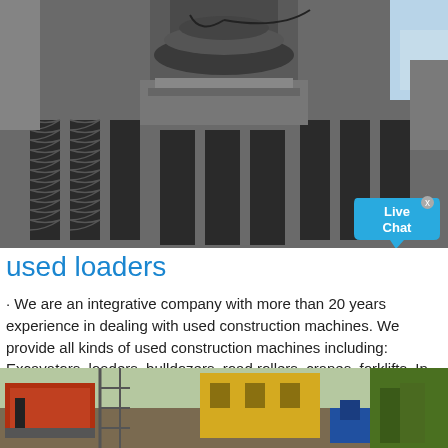[Figure (photo): Close-up photo of large industrial machinery with dark metallic spring/coil components and grey cylindrical parts, likely heavy construction or mining equipment]
used loaders
· We are an integrative company with more than 20 years experience in dealing with used construction machines. We provide all kinds of used construction machines including: Excavators, loaders, bulldozers, road rollers, cranes, forklifts. In different makes like , KATO, , , , KAWASAKI, , , , XCMG ...
[Figure (photo): Outdoor photo of used construction machinery including what appears to be red/orange and yellow heavy equipment, with trees in background]